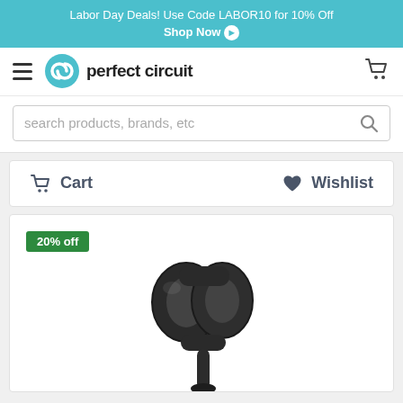Labor Day Deals! Use Code LABOR10 for 10% Off Shop Now
[Figure (logo): Perfect Circuit logo with teal circular icon and bold black text 'perfect circuit']
search products, brands, etc
Cart   Wishlist
20% off
[Figure (photo): Black plastic dual-ring microphone clip/shock mount holder on a stand, photographed on white background]